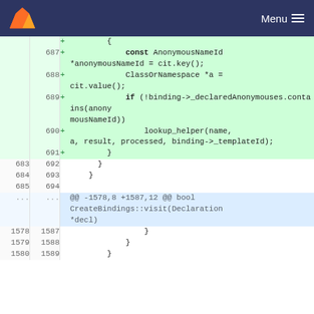GitLab Menu
[Figure (screenshot): GitLab code diff view showing lines 687-694 and 1578-1589 with added lines (green background) for C++ code involving AnonymousNameId, ClassOrNamespace, binding->_declaredAnonymouses.contains, and lookup_helper function calls.]